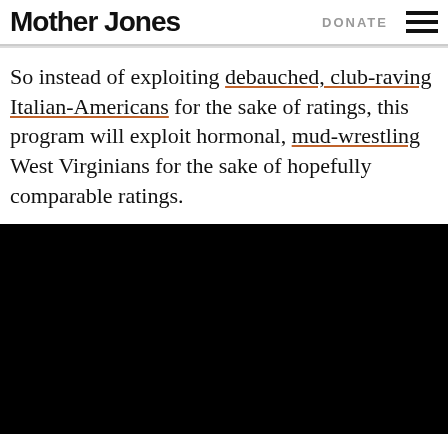Mother Jones  DONATE
So instead of exploiting debauched, club-raving Italian-Americans for the sake of ratings, this program will exploit hormonal, mud-wrestling West Virginians for the sake of hopefully comparable ratings.
[Figure (photo): Black rectangle, likely a video embed placeholder]